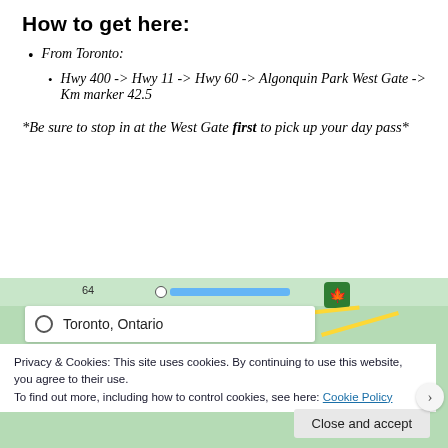How to get here:
From Toronto:
Hwy 400 -> Hwy 11 -> Hwy 60 -> Algonquin Park West Gate -> Km marker 42.5
*Be sure to stop in at the West Gate first to pick up your day pass*
[Figure (map): Map screenshot showing route from Toronto, Ontario. Includes a cookie consent overlay with text: 'Privacy & Cookies: This site uses cookies. By continuing to use this website, you agree to their use. To find out more, including how to control cookies, see here: Cookie Policy' and a 'Close and accept' button.]